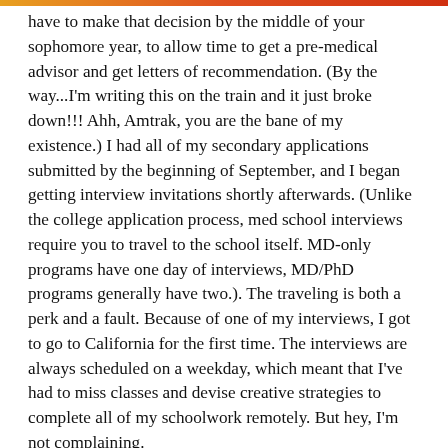have to make that decision by the middle of your sophomore year, to allow time to get a pre-medical advisor and get letters of recommendation. (By the way...I'm writing this on the train and it just broke down!!! Ahh, Amtrak, you are the bane of my existence.) I had all of my secondary applications submitted by the beginning of September, and I began getting interview invitations shortly afterwards. (Unlike the college application process, med school interviews require you to travel to the school itself. MD-only programs have one day of interviews, MD/PhD programs generally have two.). The traveling is both a perk and a fault. Because of one of my interviews, I got to go to California for the first time. The interviews are always scheduled on a weekday, which meant that I've had to miss classes and devise creative strategies to complete all of my schoolwork remotely. But hey, I'm not complaining.
Rhodes Scholarship: Studying at Oxford has been something that I've wanted to do since I spent a week